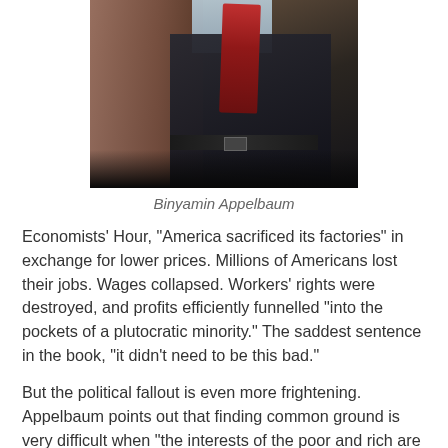[Figure (photo): Photograph of Binyamin Appelbaum, a man in a dark suit with a red patterned tie and light blue shirt, standing in front of a brick wall. The image is cropped to show his torso and lower face.]
Binyamin Appelbaum
Economists' Hour, "America sacrificed its factories" in exchange for lower prices. Millions of Americans lost their jobs. Wages collapsed. Workers' rights were destroyed, and profits efficiently funnelled "into the pockets of a plutocratic minority." The saddest sentence in the book, "it didn't need to be this bad."
But the political fallout is even more frightening. Appelbaum points out that finding common ground is very difficult when "the interests of the poor and rich are very different, and the middle class is